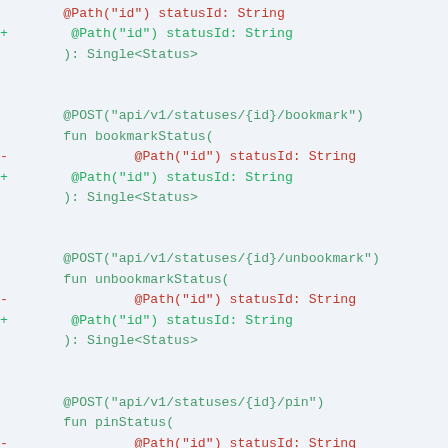Code diff showing changes to API interface methods: bookmarkStatus, unbookmarkStatus, pinStatus — each replacing a removed @Path("id") statusId: String parameter with an added one.